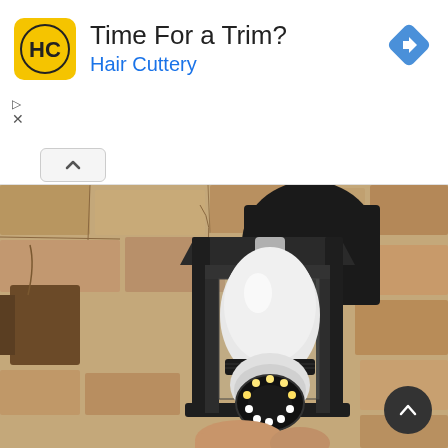[Figure (screenshot): Advertisement banner for Hair Cuttery with yellow HC logo, text 'Time For a Trim?' and 'Hair Cuttery' in blue, with a navigation/directions diamond icon on the right, play and close ad controls, and a scroll-up chevron button.]
[Figure (photo): Photograph of a black outdoor wall lantern/sconce mounted on a stone/brick wall, with a white smart security camera bulb device installed inside the lamp fixture. A hand is holding the device from below. The camera bulb has a circular LED ring at the bottom.]